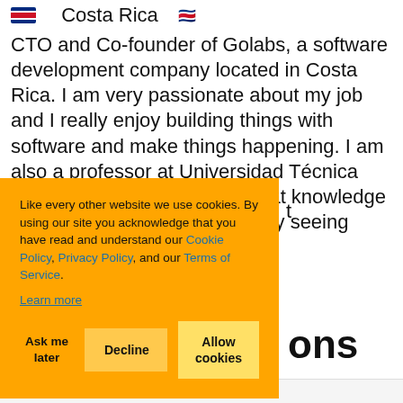Costa Rica 🇨🇷
CTO and Co-founder of Golabs, a software development company located in Costa Rica. I am very passionate about my job and I really enjoy building things with software and make things happening. I am also a professor at Universidad Técnica Nacional because I believe that knowledge should be shared, I really enjoy seeing people grow
Like every other website we use cookies. By using our site you acknowledge that you have read and understand our Cookie Policy, Privacy Policy, and our Terms of Service.
Learn more
ons
Ask me later  Decline  Allow cookies